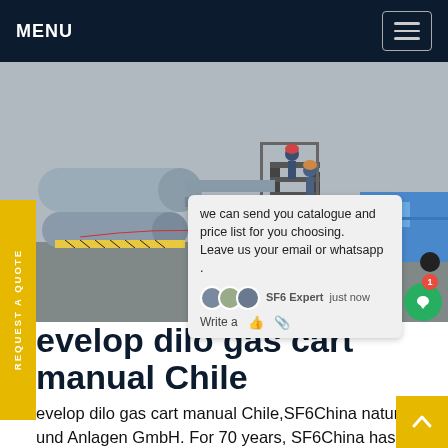MENU
[Figure (photo): Industrial scene with large gas handling equipment/tanks, workers in hard hats on stairs, a blue vehicle in background]
we can send you catalogue and price list for you choosing. Leave us your email or whatsapp .
develop dilo gas cart manual Chile
evelop dilo gas cart manual Chile,SF6China naturen und Anlagen GmbH. For 70 years, SF6China has been the epitome of professional reconditioning, mixing and recovery of gases. As technology leader SF6China offers everything for successful gas handling in the fields of sf6 gas, gas...